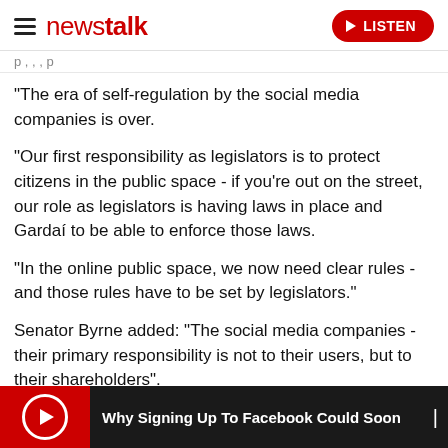newstalk  LISTEN
"The era of self-regulation by the social media companies is over.
"Our first responsibility as legislators is to protect citizens in the public space - if you're out on the street, our role as legislators is having laws in place and Gardaí to be able to enforce those laws.
"In the online public space, we now need clear rules - and those rules have to be set by legislators."
Senator Byrne added: "The social media companies - their primary responsibility is not to their users, but to their shareholders".
[Figure (screenshot): Media player bar at bottom with red play button area and black background showing text: Why Signing Up To Facebook Could Soon]